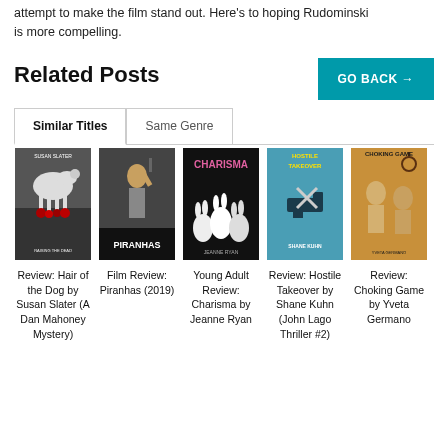attempt to make the film stand out. Here's to hoping Rudominski is more compelling.
Related Posts
GO BACK →
Similar Titles
Same Genre
[Figure (illustration): Book cover: Susan Slater - Hair of the Dog, showing a greyhound dog with bloody paws on dark background]
Review: Hair of the Dog by Susan Slater (A Dan Mahoney Mystery)
[Figure (illustration): Movie poster for Piranhas (2019), showing a young man with a weapon in an urban setting]
Film Review: Piranhas (2019)
[Figure (illustration): Book cover: Charisma by Jeanne Ryan, dark cover with white rabbits and pink text]
Young Adult Review: Charisma by Jeanne Ryan
[Figure (illustration): Book cover: Hostile Takeover by Shane Kuhn, blue cover with scissors and gun]
Review: Hostile Takeover by Shane Kuhn (John Lago Thriller #2)
[Figure (illustration): Book cover: Choking Game by Yveta Germano, vintage-style illustration on gold/brown background]
Review: Choking Game by Yveta Germano